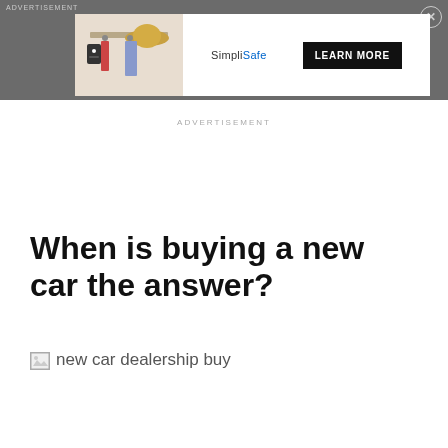ADVERTISEMENT
[Figure (screenshot): SimpliSafe advertisement banner with home security image, SimpliSafe logo, and LEARN MORE button]
ADVERTISEMENT
When is buying a new car the answer?
[Figure (photo): new car dealership buy (broken/unloaded image)]